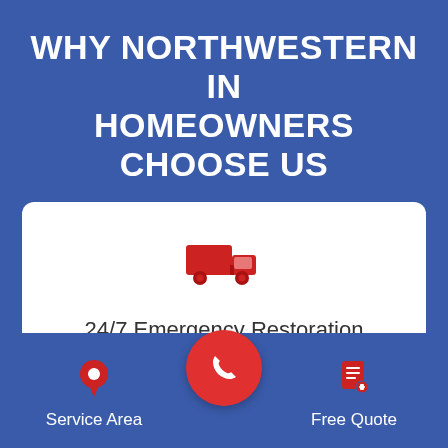WHY NORTHWESTERN IN HOMEOWNERS CHOOSE US
[Figure (infographic): White card with a red delivery truck icon and text '24/7 Emergency Restoration Services']
24/7 Emergency Restoration Services
Service Area
[Figure (infographic): Red circular phone call button in the center of the footer]
Free Quote